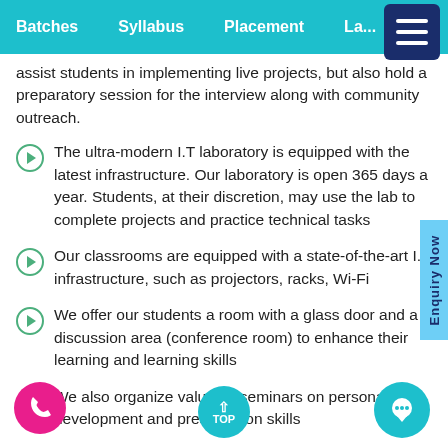Batches   Syllabus   Placement   La...
assist students in implementing live projects, but also hold a preparatory session for the interview along with community outreach.
The ultra-modern I.T laboratory is equipped with the latest infrastructure. Our laboratory is open 365 days a year. Students, at their discretion, may use the lab to complete projects and practice technical tasks
Our classrooms are equipped with a state-of-the-art I.T infrastructure, such as projectors, racks, Wi-Fi
We offer our students a room with a glass door and a discussion area (conference room) to enhance their learning and learning skills
We also organize valuable seminars on personal development and presentation skills